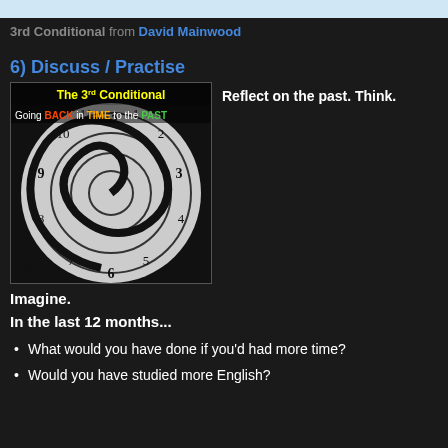3rd Conditional from David Mainwood
6) Discuss / Practise
[Figure (illustration): Spiral clock image with text 'The 3rd Conditional - Going BACK in TIME to the PAST']
Reflect on the past. Think. Imagine.
In the last 12 months...
What would you have done if you'd had more time?
Would you have studied more English?